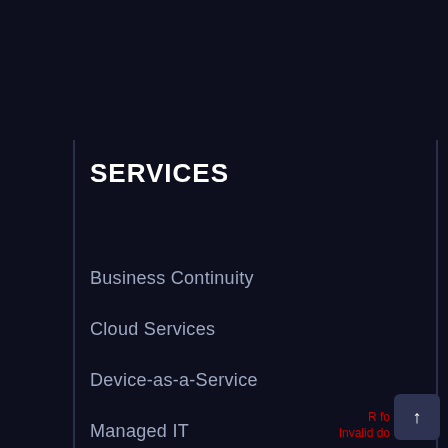SERVICES
Business Continuity
Cloud Services
Device-as-a-Service
Managed IT
Voice Services